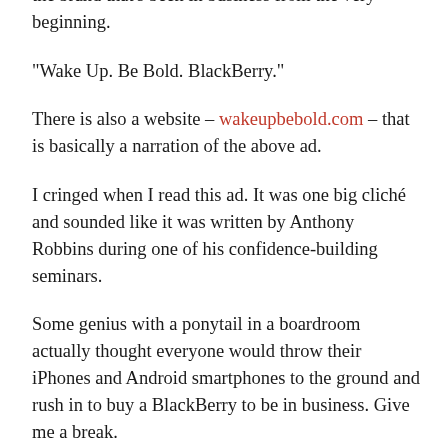the brand that's been in business from the very beginning.
“Wake Up. Be Bold. BlackBerry.”
There is also a website – wakeupbebold.com – that is basically a narration of the above ad.
I cringed when I read this ad. It was one big cliché and sounded like it was written by Anthony Robbins during one of his confidence-building seminars.
Some genius with a ponytail in a boardroom actually thought everyone would throw their iPhones and Android smartphones to the ground and rush in to buy a BlackBerry to be in business. Give me a break.
BlackBerry was once the king of smartphones and it was a compulsory tool of business – five years ago.
The irony of the whole thing is that the BlackBerry focus is